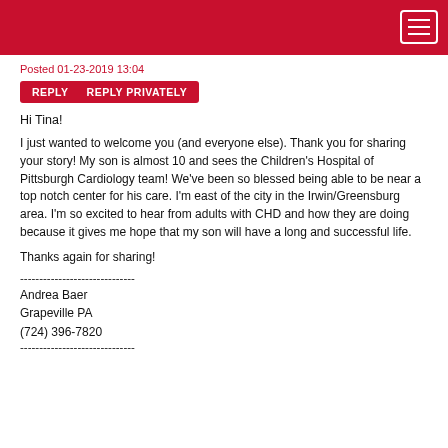Posted 01-23-2019 13:04
REPLY   REPLY PRIVATELY
Hi Tina!
I just wanted to welcome you (and everyone else). Thank you for sharing your story! My son is almost 10 and sees the Children's Hospital of Pittsburgh Cardiology team! We've been so blessed being able to be near a top notch center for his care. I'm east of the city in the Irwin/Greensburg area. I'm so excited to hear from adults with CHD and how they are doing because it gives me hope that my son will have a long and successful life.
Thanks again for sharing!
------------------------------
Andrea Baer
Grapeville PA
(724) 396-7820
------------------------------